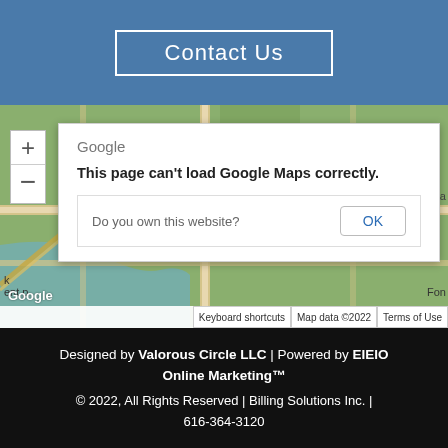Contact Us
[Figure (screenshot): Google Maps embed showing an error dialog: 'This page can't load Google Maps correctly.' with a 'Do you own this website? OK' prompt. Map background visible with zoom controls, Google logo, and attribution bar showing Keyboard shortcuts, Map data ©2022, Terms of Use.]
Designed by Valorous Circle LLC | Powered by EIEIO Online Marketing™
© 2022, All Rights Reserved | Billing Solutions Inc. | 616-364-3120